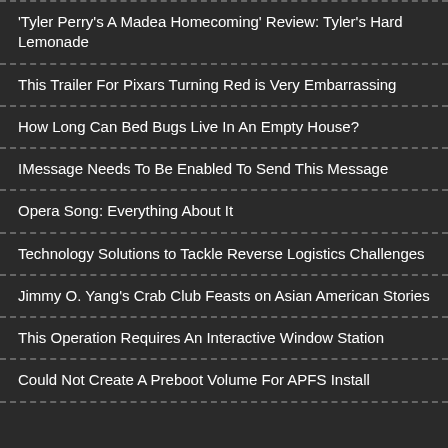'Tyler Perry's A Madea Homecoming' Review: Tyler's Hard Lemonade
This Trailer For Pixars Turning Red is Very Embarrassing
How Long Can Bed Bugs Live In An Empty House?
IMessage Needs To Be Enabled To Send This Message
Opera Song: Everything About It
Technology Solutions to Tackle Reverse Logistics Challenges
Jimmy O. Yang's Crab Club Feasts on Asian American Stories
This Operation Requires An Interactive Window Station
Could Not Create A Preboot Volume For APFS Install